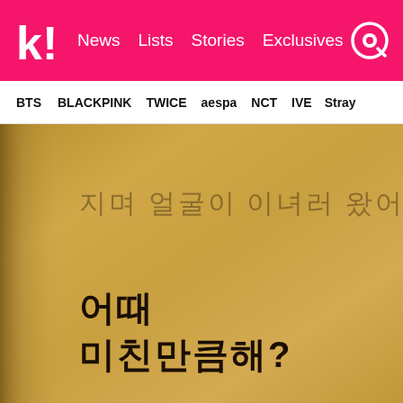k! News Lists Stories Exclusives
BTS BLACKPINK TWICE aespa NCT IVE Stray
[Figure (photo): A close-up photo of a kraft/cardboard brown surface with two lines of Korean handwritten text. Top line is written lightly in thin strokes (지며 얼굴이 이녀러 왔어오), bottom line is written boldly in dark thick marker text (어때 미친만큼해?)]